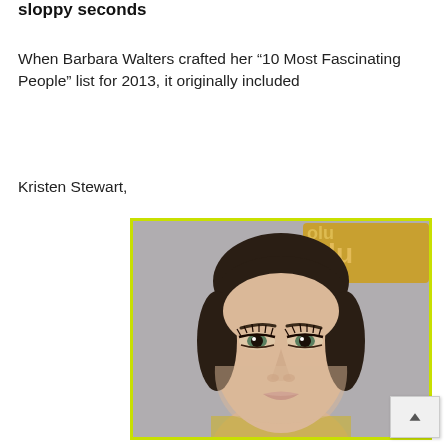sloppy seconds
When Barbara Walters crafted her “10 Most Fascinating People” list for 2013, it originally included
Kristen Stewart,
[Figure (photo): A close-up photo of Kristen Stewart with dark hair pulled back, wearing dramatic eye makeup, against a grey background with partial text visible reading '& acces' and a yellow/gold logo area. Image has a yellow-green border.]